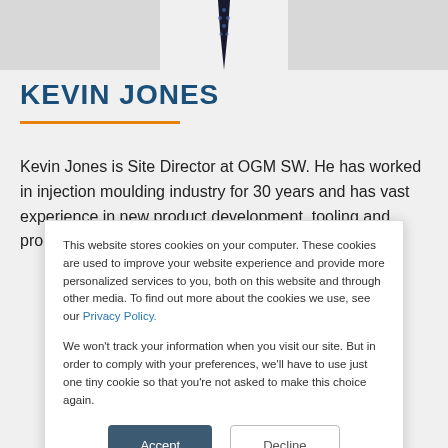[Figure (photo): Partial photo of a person in a white shirt and dark dotted tie, cropped at the top of the page.]
KEVIN JONES
Kevin Jones is Site Director at OGM SW. He has worked in injection moulding industry for 30 years and has vast experience in new product development, tooling and processing covering industries
This website stores cookies on your computer. These cookies are used to improve your website experience and provide more personalized services to you, both on this website and through other media. To find out more about the cookies we use, see our Privacy Policy.
We won't track your information when you visit our site. But in order to comply with your preferences, we'll have to use just one tiny cookie so that you're not asked to make this choice again.